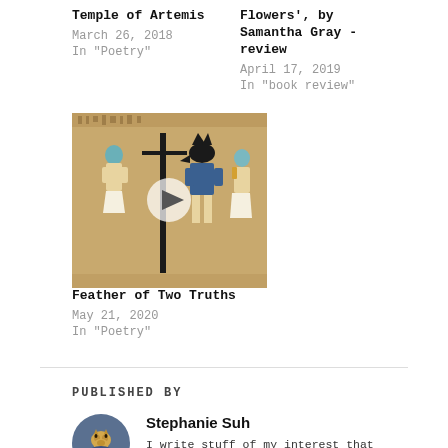Temple of Artemis
March 26, 2018
In "Poetry"
Flowers', by Samantha Gray - review
April 17, 2019
In "book review"
[Figure (photo): Ancient Egyptian papyrus artwork showing figures including a jackal-headed deity (Anubis), with a video play button overlay]
Feather of Two Truths
May 21, 2020
In "Poetry"
PUBLISHED BY
[Figure (photo): Circular avatar photo of a cat]
Stephanie Suh
I write stuff of my interest that does not interest anyone in my blog. No grammarians